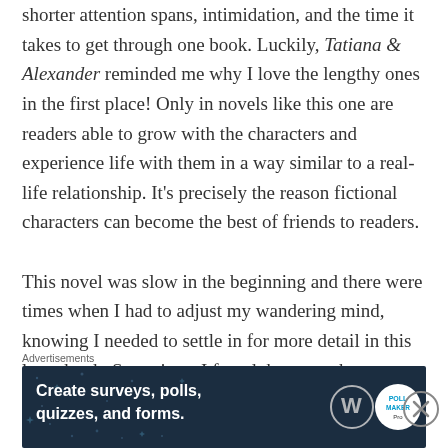shorter attention spans, intimidation, and the time it takes to get through one book. Luckily, Tatiana & Alexander reminded me why I love the lengthy ones in the first place! Only in novels like this one are readers able to grow with the characters and experience life with them in a way similar to a real-life relationship. It's precisely the reason fictional characters can become the best of friends to readers.
This novel was slow in the beginning and there were times when I had to adjust my wandering mind, knowing I needed to settle in for more detail in this large book. Sometimes I found the parts about Alexander's war experiences to be less intriguing
Advertisements
[Figure (infographic): Dark blue advertisement banner reading 'Create surveys, polls, quizzes, and forms.' with WordPress logo and a circular poll/quiz badge on the right side, with a decorative star/dot pattern background.]